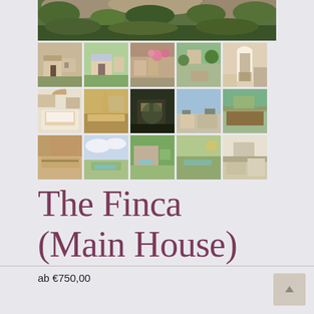[Figure (photo): Collage of property photos showing a finca/main house: top panoramic photo of rocky hillside with vegetation, plus 15 thumbnail photos arranged in 3 rows of 5 showing exterior views, bedrooms, kitchen, dining room, gardens, and pool area.]
The Finca (Main House)
ab €750,00